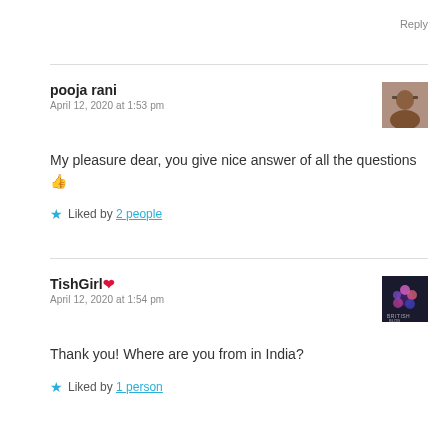Reply
pooja rani
April 12, 2020 at 1:53 pm
My pleasure dear, you give nice answer of all the questions 👍
Liked by 2 people
TishGirl❤
April 12, 2020 at 1:54 pm
Thank you! Where are you from in India?
Liked by 1 person